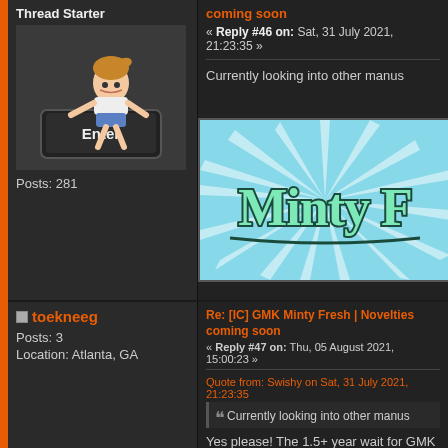Thread Starter
[Figure (illustration): Anime-style character leaning over a large keyboard Enter key]
Posts: 281
coming soon
« Reply #46 on: Sat, 31 July 2021, 21:23:35 »
Currently looking into other manus
[Figure (illustration): Minty Fresh banner with colorful retro sunburst design and teal text]
toekneeg
Posts: 3
Location: Atlanta, GA
Re: [IC] GMK Minty Fresh | Novelties coming soon
« Reply #47 on: Thu, 05 August 2021, 15:00:23 »
Quote from: Swishy on Sat, 31 July 2021, 21:23:35
Currently looking into other manus
Yes please! The 1.5+ year wait for GMK is n